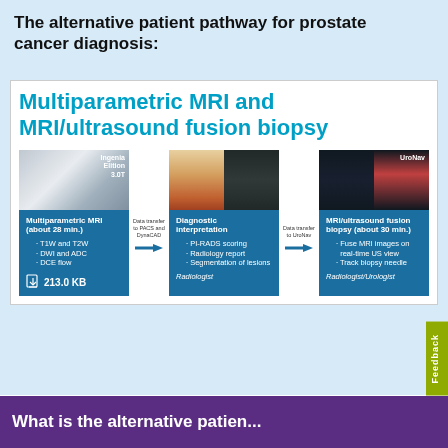The alternative patient pathway for prostate cancer diagnosis:
[Figure (infographic): Workflow diagram showing three steps: Multiparametric MRI (Ingenia Elition 3.0T, about 28 min., T1W and T2W, DWI and ADC, DCE flow, 213.0 KB), then data transfer to PACS and DynaCAD, then Diagnostic interpretation (DynaCAD prostate, PI-RADS scoring, Radiology report, Segmentation of lesions, Radiologist), then data transfer to UroNav, then MRI/ultrasound fusion biopsy (UroNav, about 30 min., Fuse MRI images on real-time US view, Track biopsy needle, Radiologist/Urologist). Title: Multiparametric MRI and MRI/ultrasound fusion biopsy]
Feedback
What is the alternative patient pathway for prostate cancer diagnosis?